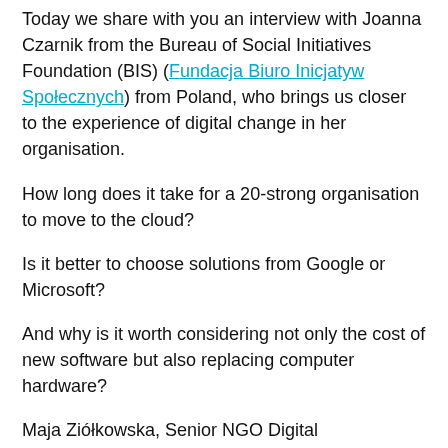Today we share with you an interview with Joanna Czarnik from the Bureau of Social Initiatives Foundation (BIS) (Fundacja Biuro Inicjatyw Społecznych) from Poland, who brings us closer to the experience of digital change in her organisation.
How long does it take for a 20-strong organisation to move to the cloud?
Is it better to choose solutions from Google or Microsoft?
And why is it worth considering not only the cost of new software but also replacing computer hardware?
Maja Ziółkowska, Senior NGO Digital Transformation Specialist in TechSoup Polska, talks about digital transformation in the Social Initiatives Bureau Foundation